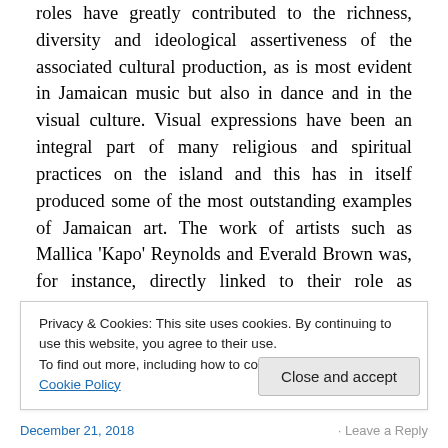roles have greatly contributed to the richness, diversity and ideological assertiveness of the associated cultural production, as is most evident in Jamaican music but also in dance and in the visual culture. Visual expressions have been an integral part of many religious and spiritual practices on the island and this has in itself produced some of the most outstanding examples of Jamaican art. The work of artists such as Mallica 'Kapo' Reynolds and Everald Brown was, for instance, directly linked to their role as religious leaders, in Zion Revival and religious
Privacy & Cookies: This site uses cookies. By continuing to use this website, you agree to their use.
To find out more, including how to control cookies, see here: Cookie Policy
December 21, 2018 · Leave a Reply